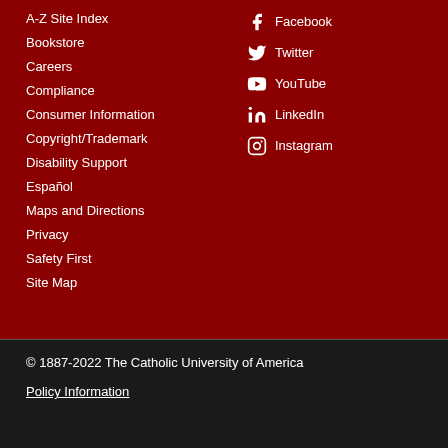A-Z Site Index
Bookstore
Careers
Compliance
Consumer Information
Copyright/Trademark
Disability Support
Español
Maps and Directions
Privacy
Safety First
Site Map
Facebook
Twitter
YouTube
LinkedIn
Instagram
© 1887-2022 The Catholic University of America
Policy Information